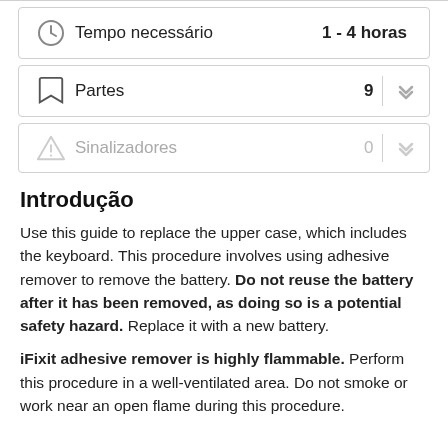| Tempo necessário | 1 - 4 horas |
| Partes | 9 |
| Sinalizadores | 0 |
Introdução
Use this guide to replace the upper case, which includes the keyboard. This procedure involves using adhesive remover to remove the battery. Do not reuse the battery after it has been removed, as doing so is a potential safety hazard. Replace it with a new battery.
iFixit adhesive remover is highly flammable. Perform this procedure in a well-ventilated area. Do not smoke or work near an open flame during this procedure.